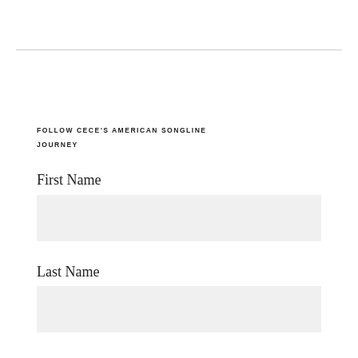FOLLOW CECE'S AMERICAN SONGLINE JOURNEY
First Name
Last Name